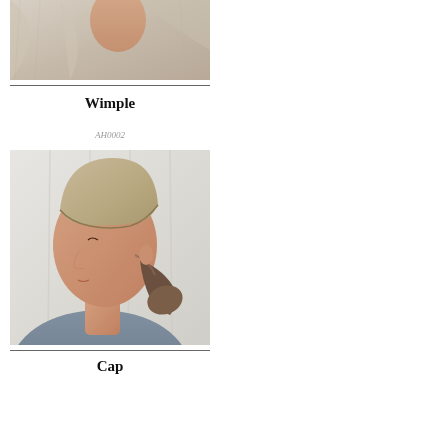[Figure (photo): Person wearing a light linen wimple/scarf draped around the head and shoulders, shown cropped at the top of the page]
Wimple
AH0002
[Figure (photo): Person shown in profile wearing a fitted beige knitted cap, with hair tucked back, wearing a grey top]
Cap